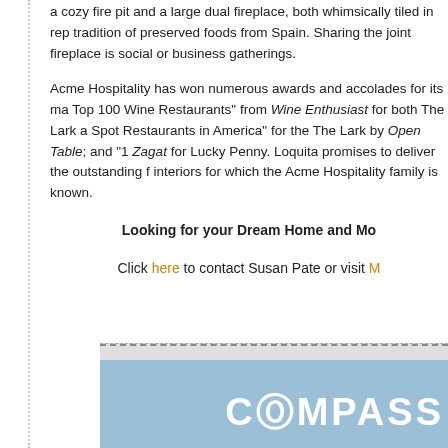a cozy fire pit and a large dual fireplace, both whimsically tiled in rep... tradition of preserved foods from Spain. Sharing the joint fireplace is... social or business gatherings.
Acme Hospitality has won numerous awards and accolades for its ma... Top 100 Wine Restaurants" from Wine Enthusiast for both The Lark a... Spot Restaurants in America" for the The Lark by Open Table; and "1... Zagat for Lucky Penny. Loquita promises to deliver the outstanding f... interiors for which the Acme Hospitality family is known.
Looking for your Dream Home and Mo...
Click here to contact Susan Pate or visit M...
[Figure (logo): Compass real estate logo on light blue background]